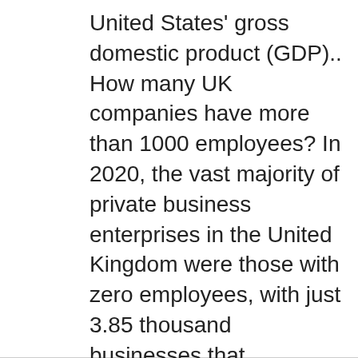United States' gross domestic product (GDP).. How many UK companies have more than 1000 employees? In 2020, the vast majority of private business enterprises in the United Kingdom were those with zero employees, with just 3.85 thousand businesses that employed more than 500 people....Number of businesses (in 1,000s)--11 more rows•Dec 19, 2020 What are the most successful small businesses? Most Profitable Small BusinessesPersonal Wellness. ... Courses in Other Hobbies. ... Bookkeeping and Accounting. ... Consulting. ... Graphic Design. ... Social Media Management. ... Marketing Copywriter. ... Virtual Assistant Services. Finally, last on our list of the most profitable small businesses: virtual assistant services.More items...•Jan…